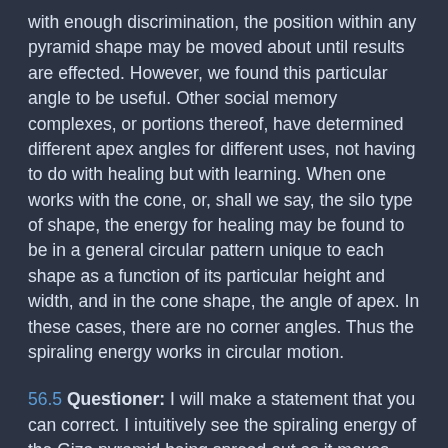with enough discrimination, the position within any pyramid shape may be moved about until results are effected. However, we found this particular angle to be useful. Other social memory complexes, or portions thereof, have determined different apex angles for different uses, not having to do with healing but with learning. When one works with the cone, or, shall we say, the silo type of shape, the energy for healing may be found to be in a general circular pattern unique to each shape as a function of its particular height and width, and in the cone shape, the angle of apex. In these cases, there are no corner angles. Thus the spiraling energy works in circular motion.
56.5 Questioner: I will make a statement that you can correct. I intuitively see the spiraling energy of the Giza pyramid being spread out as it moves through the so-called King's Chamber and then refocusing in the so-called Queen's Chamber. I am